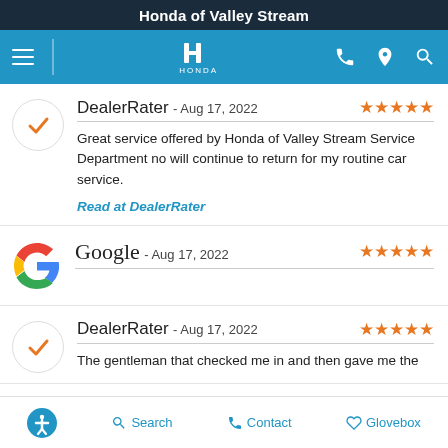Honda of Valley Stream
[Figure (screenshot): Navigation bar with Honda logo, hamburger menu, phone, location, and search icons on blue background]
DealerRater - Aug 17, 2022 ★★★★★
Great service offered by Honda of Valley Stream Service Department no will continue to return for my routine car service.
Read at DealerRater
Google - Aug 17, 2022 ★★★★★
DealerRater - Aug 17, 2022 ★★★★★
The gentleman that checked me in and then gave me the
Search  Contact  Glovebox